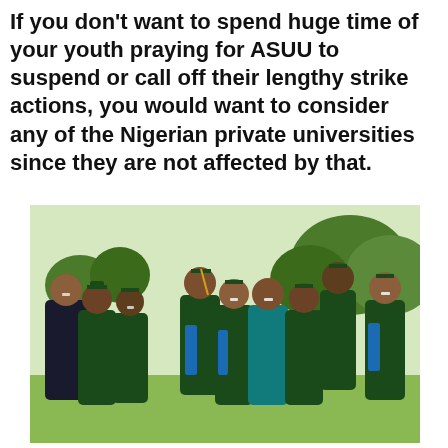If you don't want to spend huge time of your youth praying for ASUU to suspend or call off their lengthy strike actions, you would want to consider any of the Nigerian private universities since they are not affected by that.
[Figure (photo): A group of university graduates in dark green graduation gowns and caps with blue sashes, smiling and posing together outdoors on a campus lawn with trees in the background.]